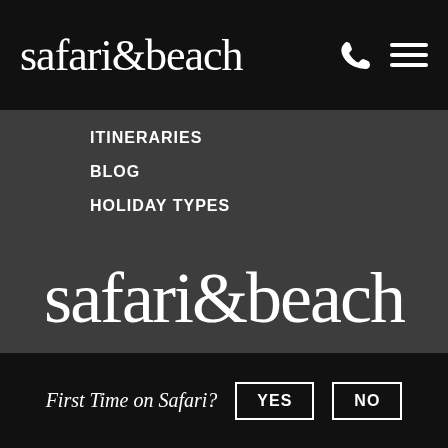safari&beach
ITINERARIES
BLOG
HOLIDAY TYPES
SAFARI CLASSIC
S&B FAMILY HOLIDAYS
HONEYMOON HOLIDAYS
TERMS & CONDITIONS
CONTACT
SECURITY
safari&beach
First Time on Safari? YES NO